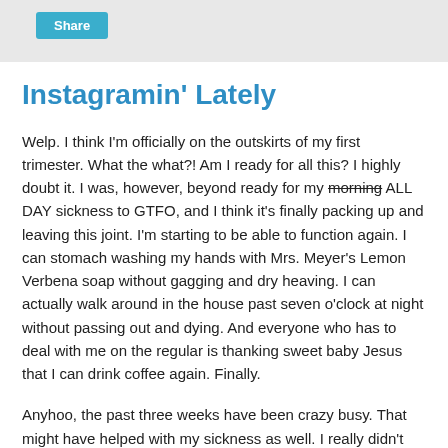Share
Instagramin' Lately
Welp. I think I'm officially on the outskirts of my first trimester. What the what?! Am I ready for all this? I highly doubt it. I was, however, beyond ready for my morning ALL DAY sickness to GTFO, and I think it's finally packing up and leaving this joint. I'm starting to be able to function again. I can stomach washing my hands with Mrs. Meyer's Lemon Verbena soap without gagging and dry heaving. I can actually walk around in the house past seven o'clock at night without passing out and dying. And everyone who has to deal with me on the regular is thanking sweet baby Jesus that I can drink coffee again. Finally.
Anyhoo, the past three weeks have been crazy busy. That might have helped with my sickness as well. I really didn't have time to feel the terrible feels. A few weekends ago we went to our first college football game of the season (we are number 2 in the nation. Hotty Toddy!). And then this past...